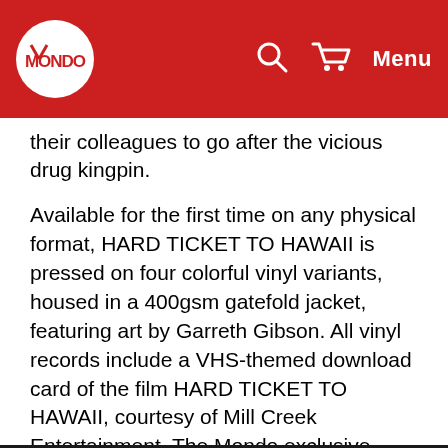Mondo [logo] Menu
their colleagues to go after the vicious drug kingpin.
Available for the first time on any physical format, HARD TICKET TO HAWAII is pressed on four colorful vinyl variants, housed in a 400gsm gatefold jacket, featuring art by Garreth Gibson. All vinyl records include a VHS-themed download card of the film HARD TICKET TO HAWAII, courtesy of Mill Creek Entertainment. The Mondo exclusive colorway Split Yellow and Orange vinyl is limited to 200 copies. $26.
ONLY LOVERS LEFT ALIVE - ORIGINAL MOTION PICTURE SOUNDTRACK LP (EXCLUSIVE)